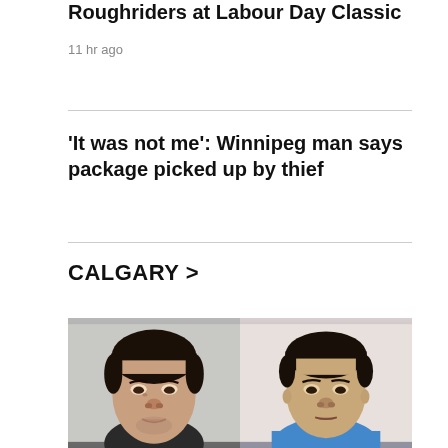Roughriders at Labour Day Classic
11 hr ago
'It was not me': Winnipeg man says package picked up by thief
CALGARY >
[Figure (photo): Two mugshot-style photos side by side: left shows a young man with dark hair and light stubble against a grey/white wall; right shows a man with dark hair wearing a blue shirt against a light background.]